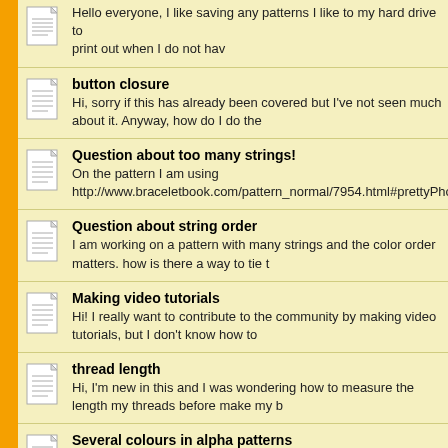Hello everyone, I like saving any patterns I like to my hard drive to print out when I do not hav
button closure
Hi, sorry if this has already been covered but I've not seen much about it. Anyway, how do I do the
Question about too many strings!
On the pattern I am using http://www.braceletbook.com/pattern_normal/7954.html#prettyPhoto[patte
Question about string order
I am working on a pattern with many strings and the color order matters. how is there a way to tie t
Making video tutorials
Hi! I really want to contribute to the community by making video tutorials, but I don't know how to
thread length
Hi, I'm new in this and I was wondering how to measure the length my threads before make my b
Several colours in alpha patterns